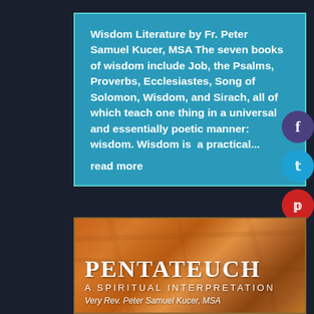Wisdom Literature by Fr. Peter Samuel Kucer, MSA The seven books of wisdom include Job, the Psalms, Proverbs, Ecclesiastes, Song of Solomon, Wisdom, and Sirach, all of which teach one thing in a universal and essentially poetic manner: wisdom. Wisdom is a practical... read more
[Figure (illustration): Book cover for 'Pentateuch: A Spiritual Interpretation' by Very Rev. Peter Samuel Kucer, MSA, with earthy orange-brown rock texture background and white serif text.]